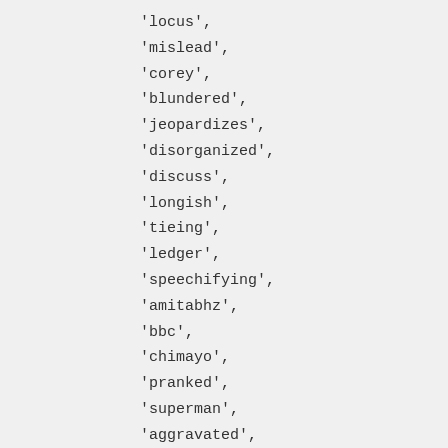'locus',
'mislead',
'corey',
'blundered',
'jeopardizes',
'disorganized',
'discuss',
'longish',
'tieing',
'ledger',
'speechifying',
'amitabhz',
'bbc',
'chimayo',
'pranked',
'superman',
'aggravated',
'rifleman',
'yvone',
'radiant',
'galico',